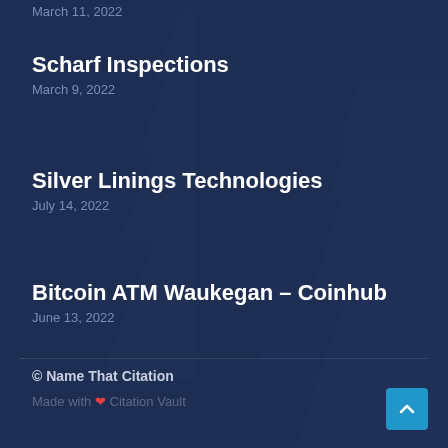March 11, 2022
Scharf Inspections
March 9, 2022
Silver Linings Technologies
July 14, 2022
Bitcoin ATM Waukegan – Coinhub
June 13, 2022
© Name That Citation
Made with ❤ Citation Vault